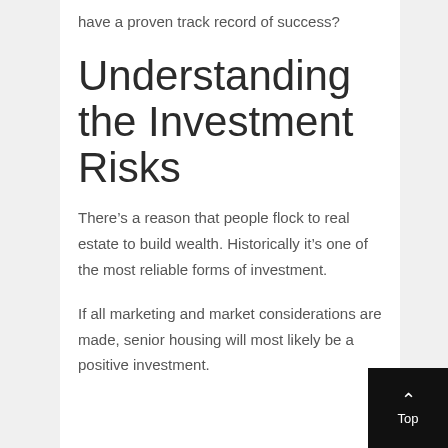have a proven track record of success?
Understanding the Investment Risks
There’s a reason that people flock to real estate to build wealth. Historically it’s one of the most reliable forms of investment.
If all marketing and market considerations are made, senior housing will most likely be a positive investment.